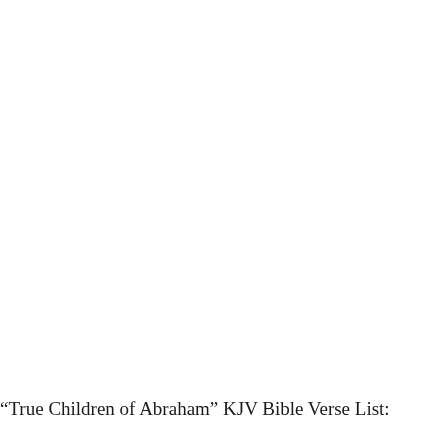“True Children of Abraham” KJV Bible Verse List: